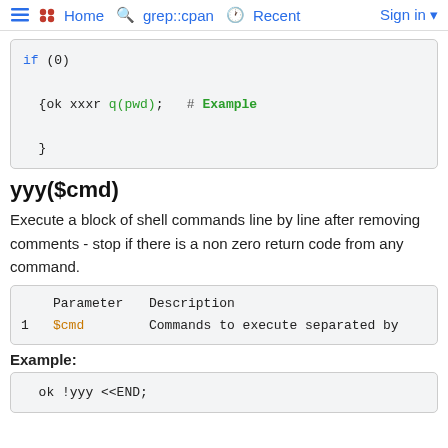≡ •• Home  🔍 grep::cpan  🕐 Recent  Sign in ▾
[Figure (screenshot): Code block showing: if (0) { {ok xxxr q(pwd);  # Example  } }]
yyy($cmd)
Execute a block of shell commands line by line after removing comments - stop if there is a non zero return code from any command.
|  | Parameter | Description |
| --- | --- | --- |
| 1 | $cmd | Commands to execute separated by |
Example:
[Figure (screenshot): Code block showing: ok !yyy <<END;]